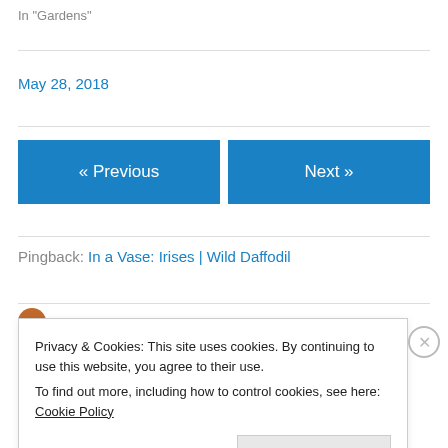In "Gardens"
May 28, 2018
« Previous
Next »
Pingback: In a Vase: Irises | Wild Daffodil
Privacy & Cookies: This site uses cookies. By continuing to use this website, you agree to their use. To find out more, including how to control cookies, see here: Cookie Policy
Close and accept